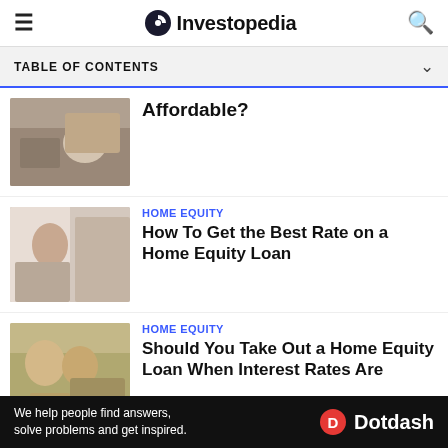Investopedia
TABLE OF CONTENTS
Affordable?
HOME EQUITY
How To Get the Best Rate on a Home Equity Loan
HOME EQUITY
Should You Take Out a Home Equity Loan When Interest Rates Are
We help people find answers, solve problems and get inspired. Dotdash